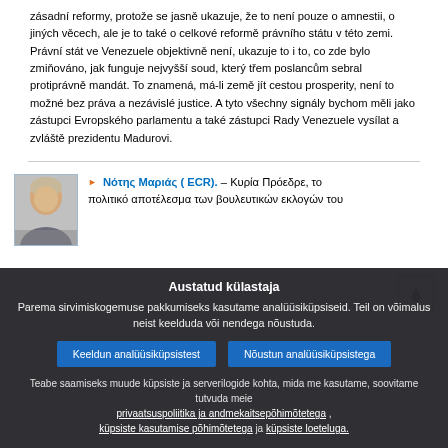zásadní reformy, protože se jasně ukazuje, že to není pouze o amnestii, o jiných věcech, ale je to také o celkové reformě právního státu v této zemi. Právní stát ve Venezuele objektivně není, ukazuje to i to, co zde bylo zmiňováno, jak funguje nejvyšší soud, který třem poslancům sebral protiprávně mandát. To znamená, má-li země jít cestou prosperity, není to možné bez práva a nezávislé justice. A tyto všechny signály bychom měli jako zástupci Evropského parlamentu a také zástupci Rady Venezuele vysílat a zvláště prezidentu Madurovi.
[Figure (photo): Portrait photo of a male speaker with light hair]
Νότης Μαριάς ( ECR). – Κυρία Πρόεδρε, το πολιτικό αποτέλεσμα των βουλευτικών εκλογών του
Austatud külastaja
Parema sirvimiskogemuse pakkumiseks kasutame analüüsiküpsiseid. Teil on võimalus neist keelduda või nendega nõustuda.
Keeldun analüüsiküpsistest   Nõustun analüüsiküpsistega
Teabe saamiseks muude küpsiste ja serverilogide kohta, mida me kasutame, soovitame tutvuda meie privaatsuspoliitika ja andmekaitsepõhimõtetega , küpsiste kasutamise põhimõtetega ja küpsiste loeteluga.